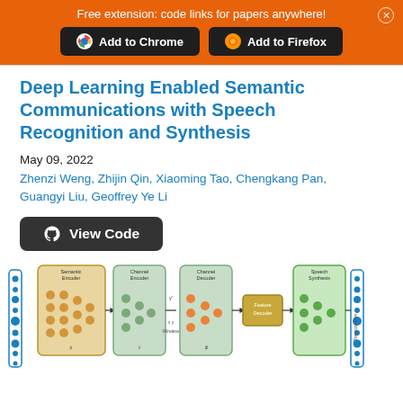Free extension: code links for papers anywhere!
[Figure (screenshot): Orange banner with 'Add to Chrome' and 'Add to Firefox' buttons on dark background, with a close X button.]
Deep Learning Enabled Semantic Communications with Speech Recognition and Synthesis
May 09, 2022
Zhenzi Weng, Zhijin Qin, Xiaoming Tao, Chengkang Pan, Guangyi Liu, Geoffrey Ye Li
[Figure (other): View Code button with GitHub icon]
[Figure (engineering-diagram): Block diagram of a semantic communications system showing: Transcreation input (waveform) -> Semantic Encoder -> Channel Encoder -> (wireless channel y) -> Channel Decoder -> Feature Decoder -> Speech Synthesis -> Transcreation output (waveform). The diagram shows neural network layers in orange/green/teal color blocks inside rounded rectangle boxes.]